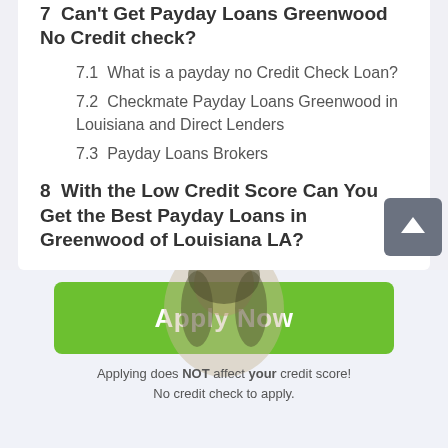7  Can't Get Payday Loans Greenwood No Credit check?
7.1  What is a payday no Credit Check Loan?
7.2  Checkmate Payday Loans Greenwood in Louisiana and Direct Lenders
7.3  Payday Loans Brokers
8  With the Low Credit Score Can You Get the Best Payday Loans in Greenwood of Louisiana LA?
[Figure (illustration): Green Apply Now button with a smiling woman in the background]
Applying does NOT affect your credit score! No credit check to apply.